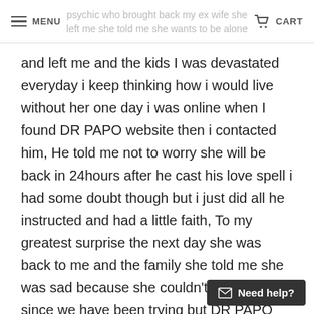MENU | CART
psychic who brought back my ex wife she left me she told me she wants to be alone
and left me and the kids I was devastated everyday i keep thinking how i would live without her one day i was online when I found DR PAPO website then i contacted him, He told me not to worry she will be back in 24hours after he cast his love spell i had some doubt though but i just did all he instructed and had a little faith, To my greatest surprise the next day she was back to me and the family she told me she was sad because she couldn't get pregnant since we have been trying but DR PAPO also solved that now she is 3 weeks pregnant I'm so excited i highly recommend
Need help?